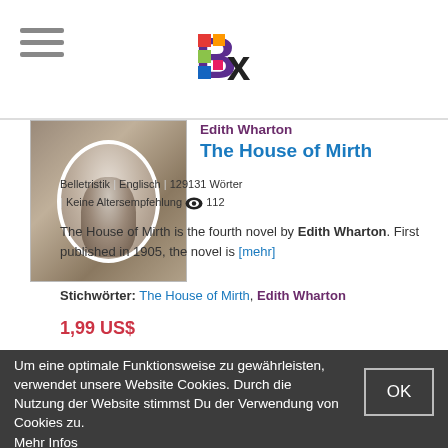Bx (logo)
[Figure (photo): Book cover photo showing an oval portrait on a brown/grey background]
Edith Wharton
The House of Mirth
Belletristik | Englisch | 129131 Wörter | Keine Altersempfehlung 👁 112
The House of Mirth is the fourth novel by Edith Wharton. First published in 1905, the novel is [mehr]
Stichwörter: The House of Mirth, Edith Wharton
1,99 US$
Um eine optimale Funktionsweise zu gewährleisten, verwendet unsere Website Cookies. Durch die Nutzung der Website stimmst Du der Verwendung von Cookies zu. Mehr Infos